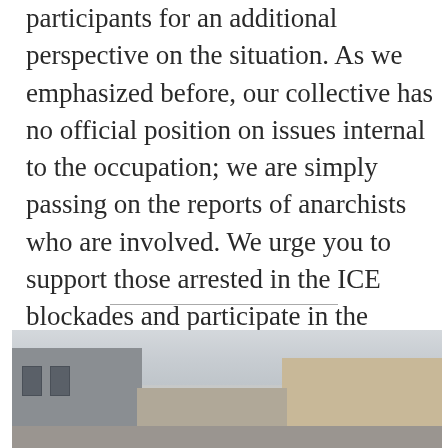participants for an additional perspective on the situation. As we emphasized before, our collective has no official position on issues internal to the occupation; we are simply passing on the reports of anarchists who are involved. We urge you to support those arrested in the ICE blockades and participate in the struggle for a world without borders or white supremacy.
[Figure (photo): Street-level photograph showing industrial or institutional buildings: a gray concrete building on the left with barred windows, a tan/beige building on the right, overcast sky in the background.]